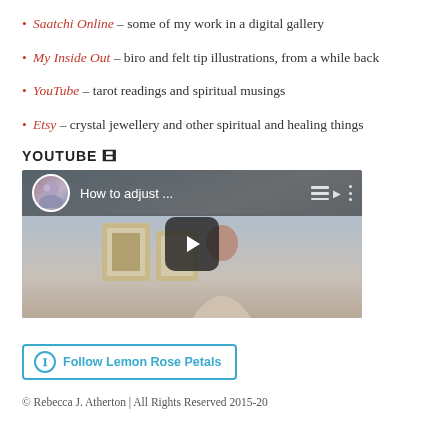Saatchi Online – some of my work in a digital gallery
My Inside Out – biro and felt tip illustrations, from a while back
YouTube – tarot readings and spiritual musings
Etsy – crystal jewellery and other spiritual and healing things
YOUTUBE 🎬
[Figure (screenshot): YouTube video thumbnail showing a woman and title 'How to adjust ...' with play button overlay]
Follow Lemon Rose Petals
© Rebecca J. Atherton | All Rights Reserved 2015-20